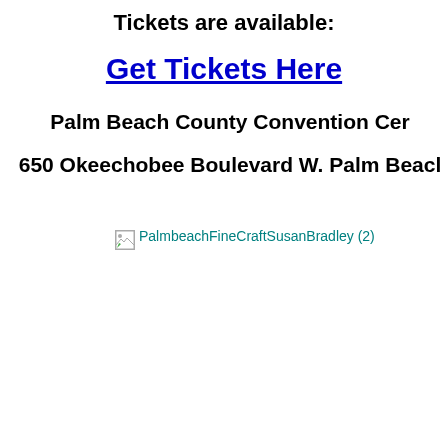Tickets are available:
Get Tickets Here
Palm Beach County Convention Center
650 Okeechobee Boulevard W. Palm Beach
[Figure (other): Broken image placeholder with alt text: PalmbeachFineCraftSusanBradley (2)]